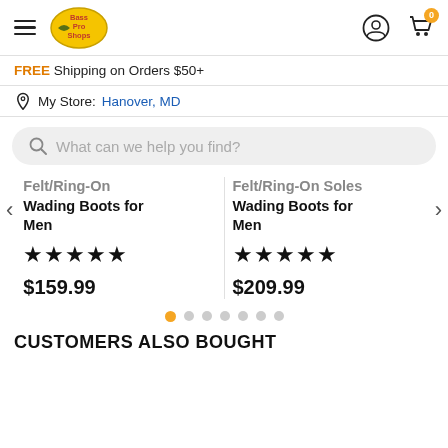Bass Pro Shops - Menu, User account, Cart (0 items)
FREE Shipping on Orders $50+
My Store: Hanover, MD
What can we help you find?
Felt/Ring-On Wading Boots for Men ★★★★★ $159.99
Felt/Ring-On Soles Wading Boots for Men ★★★★★ $209.99
CUSTOMERS ALSO BOUGHT